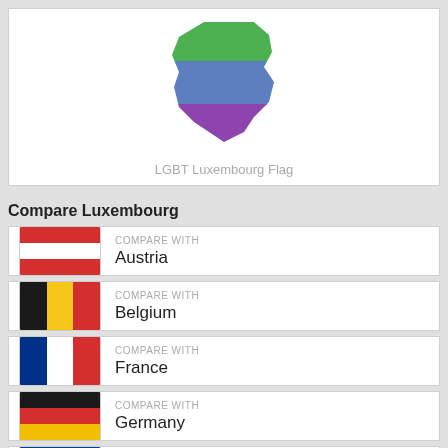[Figure (illustration): LGBT Luxembourg flag shown as a map silhouette of Luxembourg with rainbow/LGBT colors (green, blue, purple)]
LGBT Luxembourg Flag
Compare Luxembourg
COMPARE WITH Austria
COMPARE WITH Belgium
COMPARE WITH France
COMPARE WITH Germany
COMPARE WITH Liechtenstein
COMPARE WITH (partial, cut off)